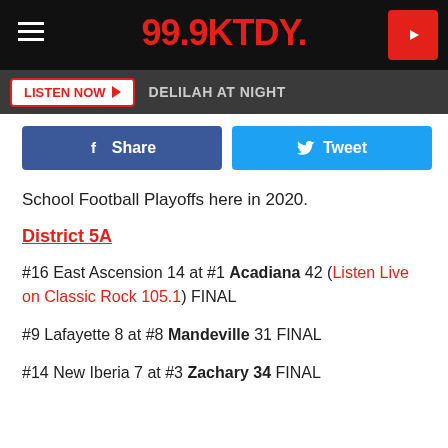[Figure (screenshot): 99.9 KTDY radio station website header with logo, hamburger menu, and play button]
LISTEN NOW  DELILAH AT NIGHT
[Figure (infographic): Facebook Share and Twitter Tweet social buttons]
School Football Playoffs here in 2020.
District 5A
#16 East Ascension 14 at #1 Acadiana 42 (Listen Live on Classic Rock 105.1) FINAL
#9 Lafayette 8 at #8 Mandeville 31 FINAL
#14 New Iberia 7 at #3 Zachary 34 FINAL